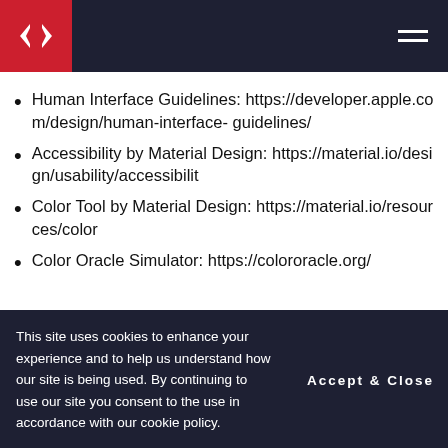Human Interface Guidelines: https://developer.apple.com/design/human-interface-guidelines/
Accessibility by Material Design: https://material.io/design/usability/accessibility
Color Tool by Material Design: https://material.io/resources/color
Color Oracle Simulator: https://colororacle.org/
This site uses cookies to enhance your experience and to help us understand how our site is being used. By continuing to use our site you consent to the use in accordance with our cookie policy.